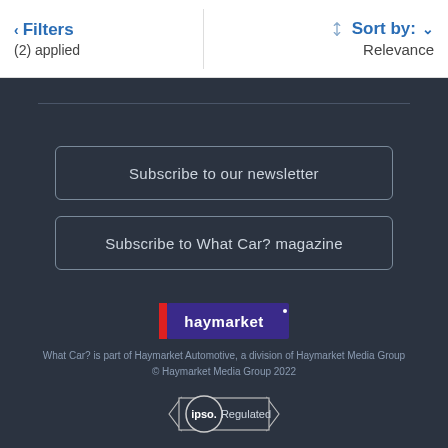Filters (2) applied | Sort by: Relevance
Subscribe to our newsletter
Subscribe to What Car? magazine
[Figure (logo): Haymarket logo - red and purple/dark blue background with white text 'haymarket']
What Car? is part of Haymarket Automotive, a division of Haymarket Media Group © Haymarket Media Group 2022
[Figure (logo): IPSO Regulated badge - circular logo with banner ribbon shape]